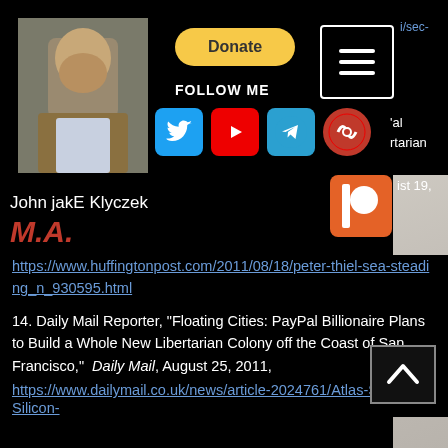[Figure (photo): Profile photo of John jakE Klyczek, a bearded man in a tan/brown jacket]
Donate
[Figure (other): Hamburger menu button (three horizontal lines) in a white-bordered square]
i/sec-
FOLLOW ME
[Figure (other): Row of social media icons: Twitter (blue bird), YouTube (red play button), Telegram (blue paper plane), and a red circular icon]
'al rtarian
[Figure (other): Orange Patreon-style icon]
ist 19,
John jakE Klyczek
M.A.
https://www.huffingtonpost.com/2011/08/18/peter-thiel-sea-steading_n_930595.html
14. Daily Mail Reporter, "Floating Cities: PayPal Billionaire Plans to Build a Whole New Libertarian Colony off the Coast of San Francisco,"  Daily Mail, August 25, 2011,
https://www.dailymail.co.uk/news/article-2024761/Atlas-Shrugged-Silicon-
[Figure (other): Back-to-top chevron/caret button in a bordered box]